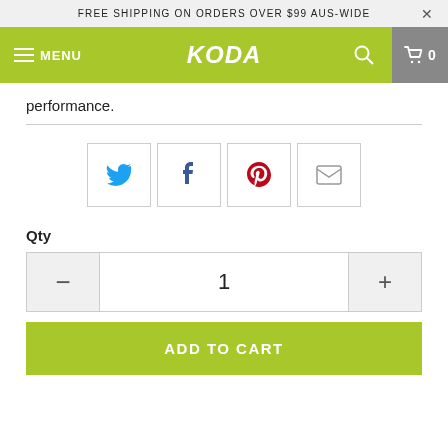FREE SHIPPING ON ORDERS OVER $99 AUS-WIDE
KODA
performance.
[Figure (infographic): Social share buttons: Twitter (blue bird), Facebook (f), Pinterest (red P), Email (envelope icon)]
Qty
[Figure (infographic): Quantity selector with minus button, value 1, and plus button]
ADD TO CART